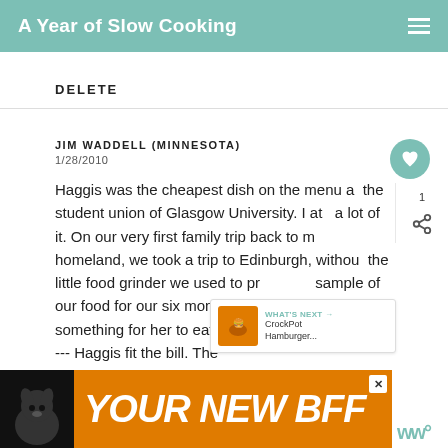A Year of Slow Cooking
DELETE
JIM WADDELL (MINNESOTA)
1/28/2010
Haggis was the cheapest dish on the menu at the student union of Glasgow University. I ate a lot of it. On our very first family trip back to my homeland, we took a trip to Edinburgh, without the little food grinder we used to prepare a sample of our food for our six month old — we needed to find something for her to eat, that did not require teeth --- Haggis fit the bill. The
[Figure (photo): Advertisement banner with a dog and text YOUR NEW BFF on orange background]